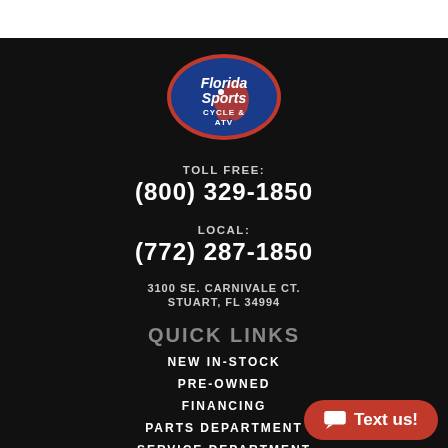[Figure (logo): Florida Sports Cycle & ATV logo — blue oval with red Florida state shape, white text]
TOLL FREE:
(800) 329-1850
LOCAL:
(772) 287-1850
3100 SE. CARNIVALE CT.
STUART, FL 34994
QUICK LINKS
NEW IN-STOCK
PRE-OWNED
FINANCING
PARTS DEPARTMENT
SERVICE DEPARTMENT